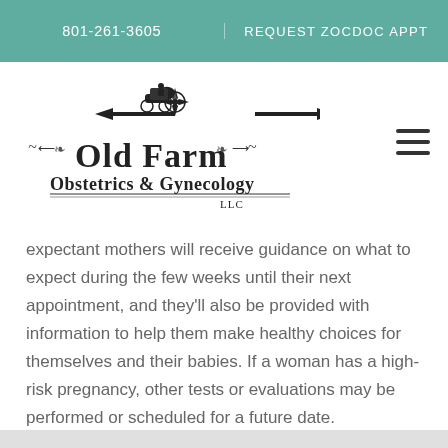801-261-3605 | REQUEST ZOCDOC APPT
[Figure (logo): Old Farm Obstetrics & Gynecology LLC logo with horse-drawn carriage weathervane illustration]
expectant mothers will receive guidance on what to expect during the few weeks until their next appointment, and they'll also be provided with information to help them make healthy choices for themselves and their babies. If a woman has a high-risk pregnancy, other tests or evaluations may be performed or scheduled for a future date.